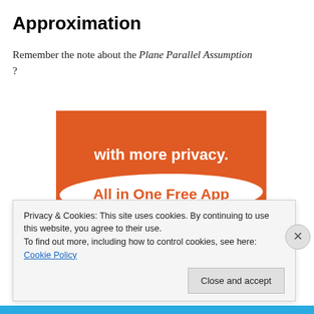Approximation
Remember the note about the Plane Parallel Assumption ?
[Figure (screenshot): DuckDuckGo advertisement banner showing an orange background with text 'with more privacy. All in One Free App' and a smartphone with the DuckDuckGo duck logo.]
Privacy & Cookies: This site uses cookies. By continuing to use this website, you agree to their use. To find out more, including how to control cookies, see here: Cookie Policy